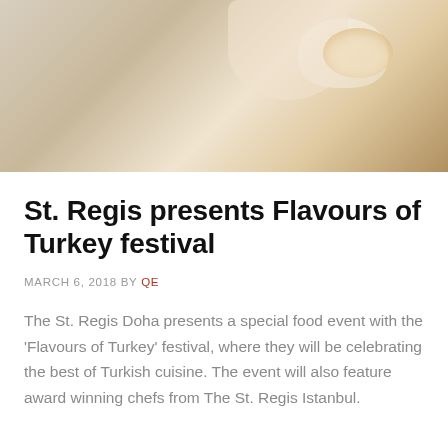[Figure (photo): Close-up photo of a chef's hand preparing a food dish with cream/foam topping in a kitchen setting, warm tones]
St. Regis presents Flavours of Turkey festival
MARCH 6, 2018 BY QE
The St. Regis Doha presents a special food event with the 'Flavours of Turkey' festival, where they will be celebrating the best of Turkish cuisine. The event will also feature award winning chefs from The St. Regis Istanbul.
[Figure (photo): Black and white photo of two men in formal attire (chefs or staff) standing in a restaurant or kitchen environment]